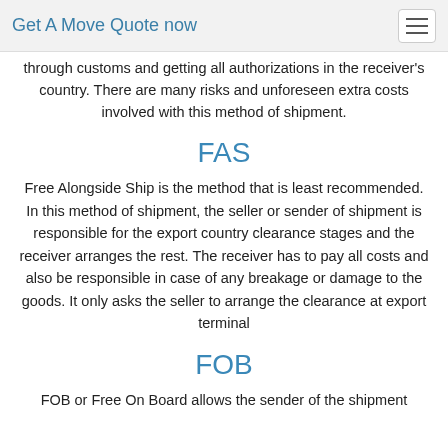Get A Move Quote now
unloading the shipment and clearing out any extra through customs and getting all authorizations in the receiver's country. There are many risks and unforeseen extra costs involved with this method of shipment.
FAS
Free Alongside Ship is the method that is least recommended. In this method of shipment, the seller or sender of shipment is responsible for the export country clearance stages and the receiver arranges the rest. The receiver has to pay all costs and also be responsible in case of any breakage or damage to the goods. It only asks the seller to arrange the clearance at export terminal
FOB
FOB or Free On Board allows the sender of the shipment